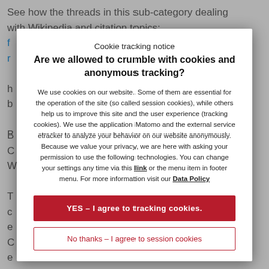See how the threads in this sub-category dealing with Wikipedia and citation topics:
We use cookies on our website. Some of them are essential for the operation of the site (so called session cookies), while others help us to improve this site and the user experience (tracking cookies). We use the application Matomo and the external service etracker to analyze your behavior on our website anonymously. Because we value your privacy, we are here with asking your permission to use the following technologies. You can change your settings any time via this link or the menu item in footer menu. For more information visit our Data Policy
Cookie tracking notice
Are we allowed to crumble with cookies and anonymous tracking?
YES – I agree to tracking cookies.
No thanks – I agree to session cookies